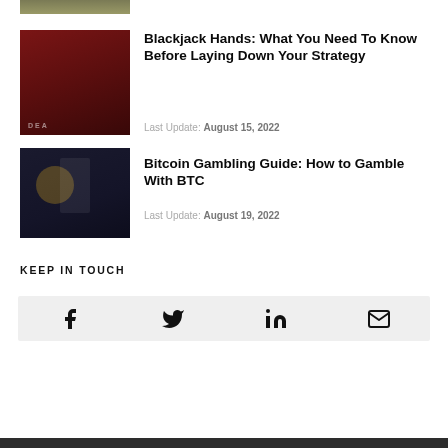[Figure (photo): Partial image strip at top, cropped view of a gambling/casino scene]
Blackjack Hands: What You Need To Know Before Laying Down Your Strategy
Last Update: August 15, 2022
[Figure (photo): Bitcoin and calendar on dark background]
Bitcoin Gambling Guide: How to Gamble With BTC
Last Update: August 19, 2022
KEEP IN TOUCH
[Figure (infographic): Social media icons bar: Facebook, Twitter, LinkedIn, Email on light grey background]